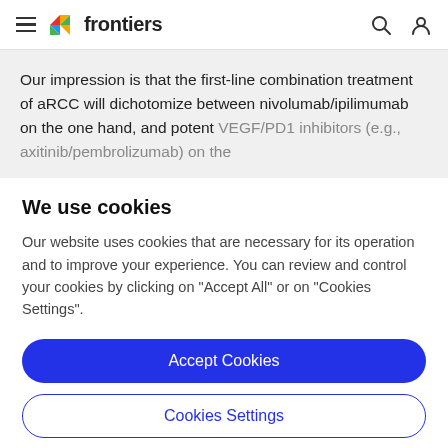frontiers
Our impression is that the first-line combination treatment of aRCC will dichotomize between nivolumab/ipilimumab on the one hand, and potent VEGF/PD1 inhibitors (e.g., axitinib/pembrolizumab) on the
We use cookies
Our website uses cookies that are necessary for its operation and to improve your experience. You can review and control your cookies by clicking on "Accept All" or on "Cookies Settings".
Accept Cookies
Cookies Settings